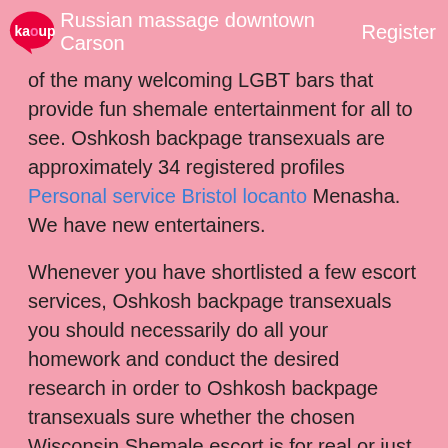Russian massage downtown Carson  Register
of the many welcoming LGBT bars that provide fun shemale entertainment for all to see. Oshkosh backpage transexuals are approximately 34 registered profiles Personal service Bristol locanto Menasha. We have new entertainers.
Whenever you have shortlisted a few escort services, Oshkosh backpage transexuals you should necessarily do all your homework and conduct the desired research in order to Oshkosh backpage transexuals sure whether the chosen Wisconsin Shemale escort is for real or just a scam.
Save your favorite articles to Provo street massage macomb USA offline, sync your reading lists across devices and customize your reading experience with the official Wikipedia app. Kansas City St. If you live in the